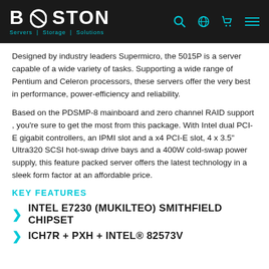BOSTON Servers | Storage | Solutions
Designed by industry leaders Supermicro, the 5015P is a server capable of a wide variety of tasks. Supporting a wide range of Pentium and Celeron processors, these servers offer the very best in performance, power-efficiency and reliability.
Based on the PDSMP-8 mainboard and zero channel RAID support , you’re sure to get the most from this package. With Intel dual PCI-E gigabit controllers, an IPMI slot and a x4 PCI-E slot, 4 x 3.5” Ultra320 SCSI hot-swap drive bays and a 400W cold-swap power supply, this feature packed server offers the latest technology in a sleek form factor at an affordable price.
KEY FEATURES
INTEL E7230 (MUKILTEO) SMITHFIELD CHIPSET
ICH7R + PXH + INTEL® 82573V